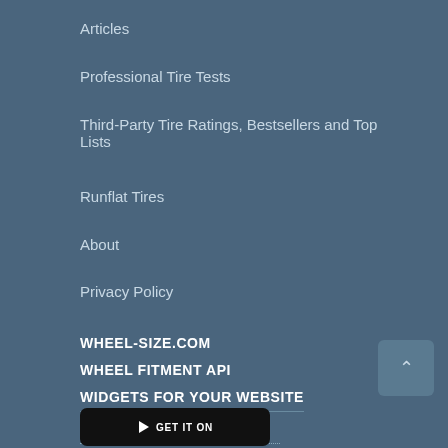Articles
Professional Tire Tests
Third-Party Tire Ratings, Bestsellers and Top Lists
Runflat Tires
About
Privacy Policy
WHEEL-SIZE.COM
WHEEL FITMENT API
WIDGETS FOR YOUR WEBSITE
Contact us
info@tiresvote.com
GET IT ON